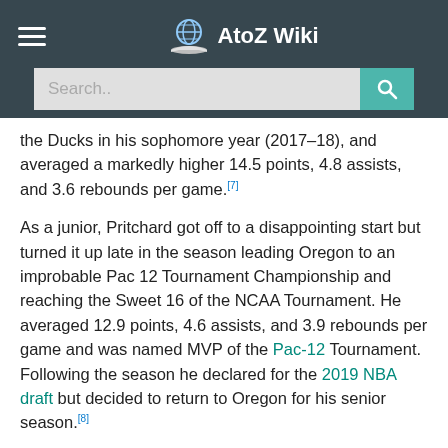AtoZ Wiki
the Ducks in his sophomore year (2017–18), and averaged a markedly higher 14.5 points, 4.8 assists, and 3.6 rebounds per game.[7]
As a junior, Pritchard got off to a disappointing start but turned it up late in the season leading Oregon to an improbable Pac 12 Tournament Championship and reaching the Sweet 16 of the NCAA Tournament. He averaged 12.9 points, 4.6 assists, and 3.9 rebounds per game and was named MVP of the Pac-12 Tournament. Following the season he declared for the 2019 NBA draft but decided to return to Oregon for his senior season.[8]
As a senior, Pritchard was one of the best players in collegiate basketball. On January 18, 2020, Pritchard scored 22 points and drained a 30-foot shot with 3 seconds left to complete a